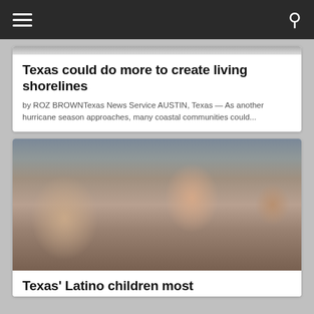Navigation bar with hamburger menu and search icon
Texas could do more to create living shorelines
by ROZ BROWNTexas News Service AUSTIN, Texas — As another hurricane season approaches, many coastal communities could...
[Figure (photo): Children sitting at a table with small milk cartons, including a young girl with pigtails looking at the camera]
Texas' Latino children most